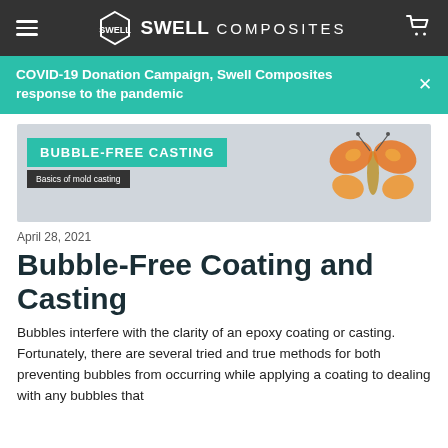SWELL COMPOSITES
COVID-19 Donation Campaign, Swell Composites response to the pandemic
[Figure (photo): Banner image with teal BUBBLE-FREE CASTING label and 'Basics of mold casting' subtitle, with an orange butterfly resin casting on the right side]
April 28, 2021
Bubble-Free Coating and Casting
Bubbles interfere with the clarity of an epoxy coating or casting. Fortunately, there are several tried and true methods for both preventing bubbles from occurring while applying a coating to dealing with any bubbles that